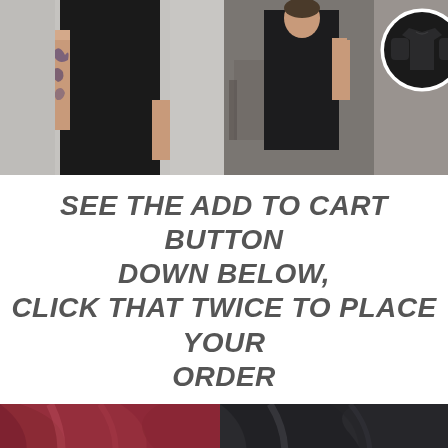[Figure (photo): Top collage of two photos: left shows a woman in a black outfit with tattoos on arm against grey background; right shows a man in a black t-shirt outside a shop, with a circular inset of a black t-shirt product.]
SEE THE ADD TO CART BUTTON DOWN BELOW, CLICK THAT TWICE TO PLACE YOUR ORDER
[Figure (photo): Close-up photo of fabric swatches showing crimson/dark red fabric on the left and dark charcoal/black fabric on the right.]